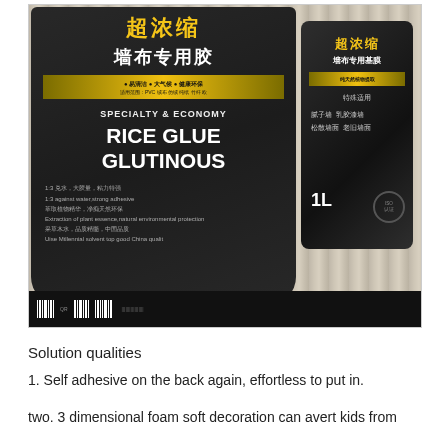[Figure (photo): Photograph of two products on a textured carpet background: a black bag labeled 'SPECIALTY & ECONOMY RICE GLUE GLUTINOUS' with Chinese text '超浓缩 墙布专用胶' and a black bottle labeled '超浓缩 墙布专用基膜 1L'.]
Solution qualities
1. Self adhesive on the back again, effortless to put in.
two. 3 dimensional foam soft decoration can avert kids from